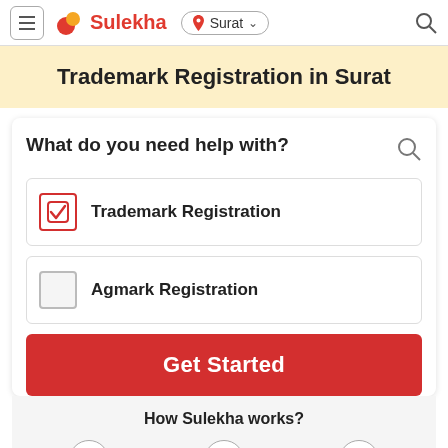Sulekha | Surat
Trademark Registration in Surat
What do you need help with?
Trademark Registration (checked)
Agmark Registration (unchecked)
Get Started
How Sulekha works?
1 Share your requirement With
2 Get Multiple quotes from
3 Compare, Hire & Get Hassle Free Service